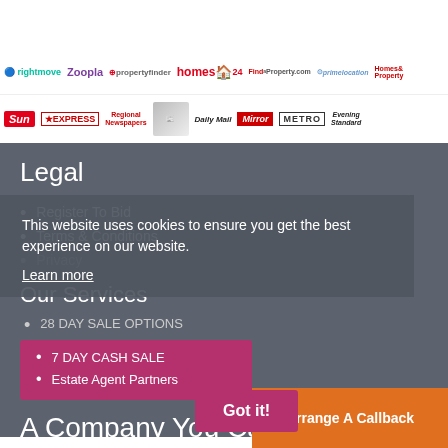[Figure (logo): Media partner logos row 1: rightmove, Zoopla, propertyfinder, homes24, Find a Property, PrimeLocation, Homes & Property]
[Figure (logo): Media partner logos row 2: The Sun, Express, Regional Newspapers, stacked newspapers image, Daily Mail, Mirror, Metro, Evening Standard]
Legal
Register To Bid
Terms & Conditions
Privacy
Our Services
28 DAY SALE OPTIONS
7 DAY CASH SALE
Estate Agent Partners
This website uses cookies to ensure you get the best experience on our website.
Learn more
Got it!
A Company You Ca
Arrange A Callback